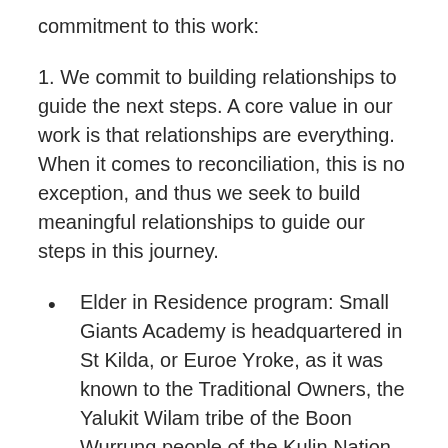commitment to this work:
1. We commit to building relationships to guide the next steps. A core value in our work is that relationships are everything. When it comes to reconciliation, this is no exception, and thus we seek to build meaningful relationships to guide our steps in this journey.
Elder in Residence program: Small Giants Academy is headquartered in St Kilda, or Euroe Yroke, as it was known to the Traditional Owners, the Yalukit Wilam tribe of the Boon Wurrung people of the Kulin Nation. Local elder, N'arweet Dr Carolyn Briggs has agreed to be the Small Giants Elder in Residence. We